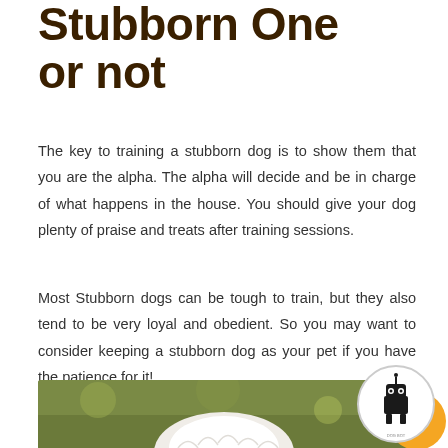Stubborn One or not
The key to training a stubborn dog is to show them that you are the alpha. The alpha will decide and be in charge of what happens in the house. You should give your dog plenty of praise and treats after training sessions.
Most Stubborn dogs can be tough to train, but they also tend to be very loyal and obedient. So you may want to consider keeping a stubborn dog as your pet if you have the patience for it!
[Figure (logo): Circular logo with a stylized dog/robot figure on white background with orange accent circle]
[Figure (photo): Bottom strip showing a fluffy white dog on a green grassy background]